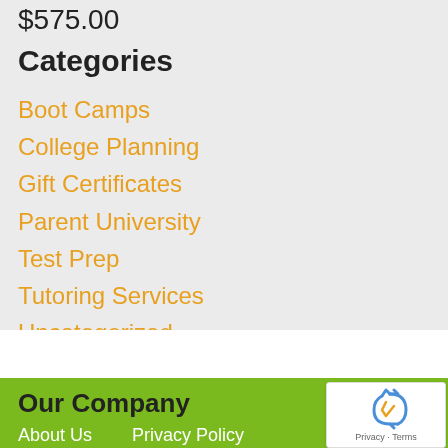$575.00
Categories
Boot Camps
College Planning
Gift Certificates
Parent University
Test Prep
Tutoring Services
Uncategorized
Our Company
About Us
Privacy Policy
[Figure (other): reCAPTCHA widget showing recycling arrows icon and Privacy · Terms links]